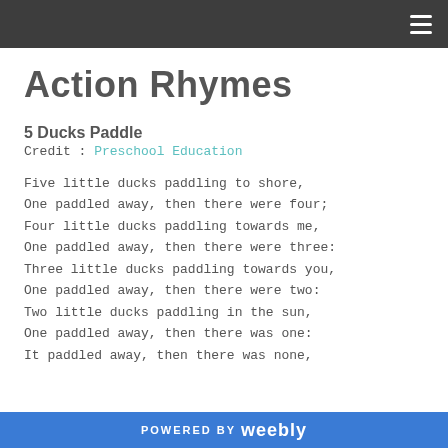≡
Action Rhymes
5 Ducks Paddle
Credit: Preschool Education
Five little ducks paddling to shore,
One paddled away, then there were four;
Four little ducks paddling towards me,
One paddled away, then there were three:
Three little ducks paddling towards you,
One paddled away, then there were two:
Two little ducks paddling in the sun,
One paddled away, then there was one:
It paddled away, then there was none,
POWERED BY weebly